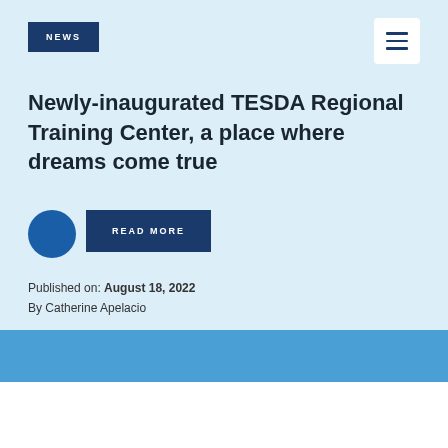NEWS
Newly-inaugurated TESDA Regional Training Center, a place where dreams come true
READ MORE
Published on: August 18, 2022
By Catherine Apelacio